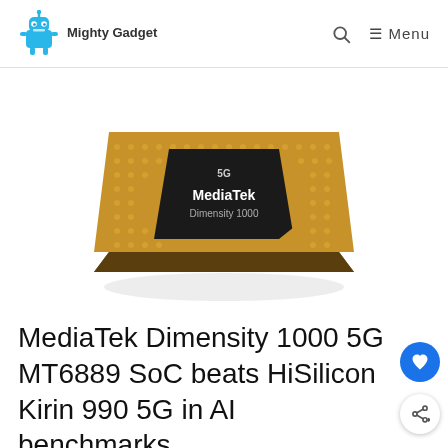Mighty Gadget | Menu
[Figure (photo): MediaTek Dimensity 1000 5G chip — a gold square BGA processor with a dark square die in the center labeled 'MediaTek Dimensity 1000' and '5G' at the top, photographed at an angle showing its gold solder ball underside.]
MediaTek Dimensity 1000 5G MT6889 SoC beats HiSilicon Kirin 990 5G in AI benchmarks